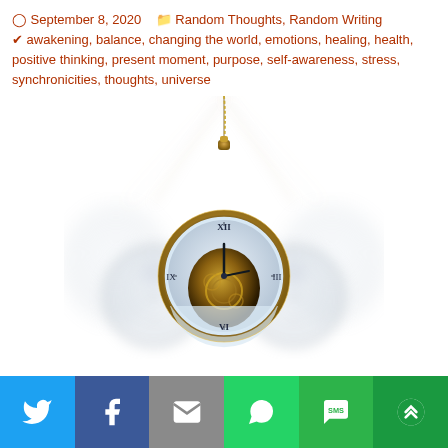September 8, 2020   Random Thoughts, Random Writing   awakening, balance, changing the world, emotions, healing, health, positive thinking, present moment, purpose, self-awareness, stress, synchronicities, thoughts, universe
[Figure (illustration): A swinging pocket watch on a chain, shown with motion blur effect depicting multiple positions of the pendulum swing. A gold pocket watch with exposed mechanism hangs in the center, flanked by ghost/blurred images of the same watch at different swing positions.]
Twitter | Facebook | Email | WhatsApp | SMS | More